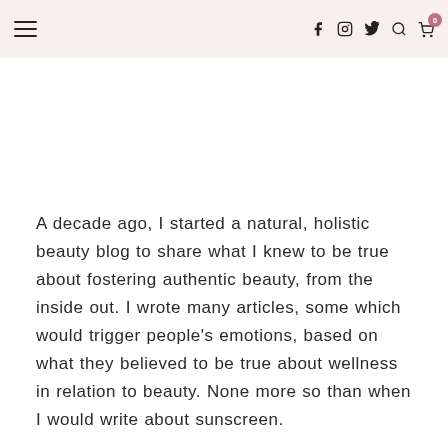Menu | f ig tw | search cart 0
A decade ago, I started a natural, holistic beauty blog to share what I knew to be true about fostering authentic beauty, from the inside out. I wrote many articles, some which would trigger people's emotions, based on what they believed to be true about wellness in relation to beauty. None more so than when I would write about sunscreen.